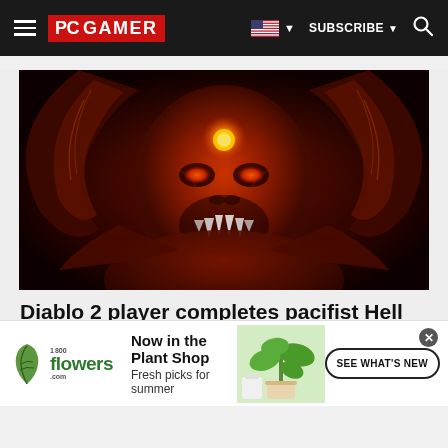PC GAMER | SUBSCRIBE | Search
[Figure (photo): Diablo 2 demon lord artwork — a large red demonic figure with glowing eyes, horns, fangs, and a golden gem on its forehead, rendered in dark fiery tones]
Diablo 2 player completes pacifist Hell run previously only theorized to be possible
[Figure (other): 1-800-Flowers.com advertisement banner: 'Now in the Plant Shop — Fresh picks for summer' with a SEE WHAT'S NEW button and a plant photo]